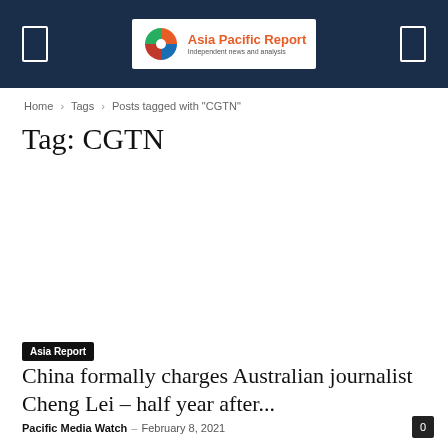Asia Pacific Report — Independent news and analysis
Home › Tags › Posts tagged with "CGTN"
Tag: CGTN
Asia Report
China formally charges Australian journalist Cheng Lei – half year after...
Pacific Media Watch – February 8, 2021